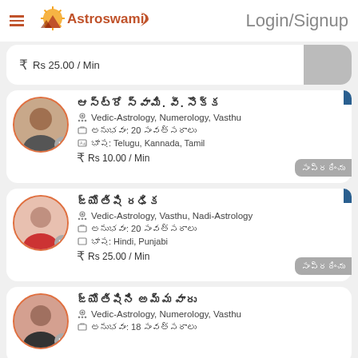Astroswami — Login/Signup
Rs 25.00 / Min
██████ ██. ██. ████
Vedic-Astrology, Numerology, Vasthu
██████: 20 ███
████: Telugu, Kannada, Tamil
Rs 10.00 / Min
████████ (button)
███████ █████
Vedic-Astrology, Vasthu, Nadi-Astrology
██████: 20 ███
████: Hindi, Punjabi
Rs 25.00 / Min
████████ (button)
███████ ████████
Vedic-Astrology, Numerology, Vasthu
██████: 18 ███